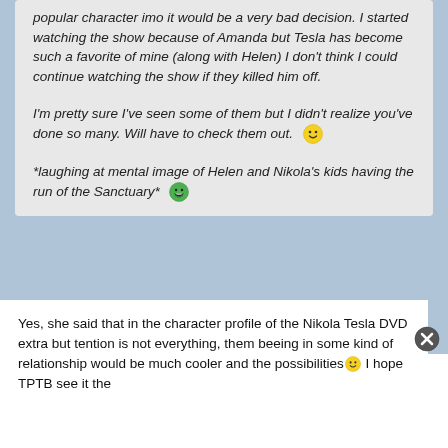popular character imo it would be a very bad decision. I started watching the show because of Amanda but Tesla has become such a favorite of mine (along with Helen) I don't think I could continue watching the show if they killed him off.
I'm pretty sure I've seen some of them but I didn't realize you've done so many. Will have to check them out. 🙂
*laughing at mental image of Helen and Nikola's kids having the run of the Sanctuary* 😄
Yes, she said that in the character profile of the Nikola Tesla DVD extra but tention is not everything, them beeing in some kind of relationship would be much cooler and the possibilities🙂 I hope TPTB see it the same way and don't kill off Tesla, that would be...